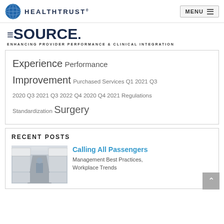HEALTHTRUST
[Figure (logo): The SOURCE logo with tagline: ENHANCING PROVIDER PERFORMANCE & CLINICAL INTEGRATION]
Experience Performance Improvement Purchased Services Q1 2021 Q3 2020 Q3 2021 Q3 2022 Q4 2020 Q4 2021 Regulations Standardization Surgery
RECENT POSTS
[Figure (photo): Interior of airplane cabin showing aisle with passengers and overhead compartments]
Calling All Passengers
Management Best Practices, Workplace Trends